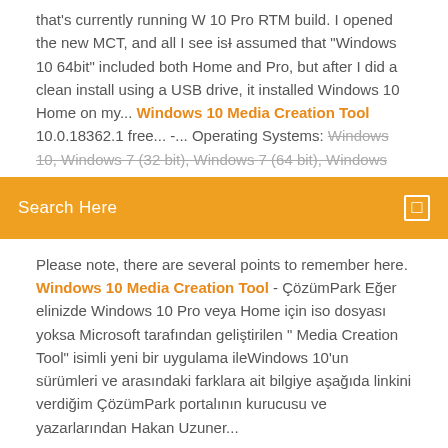that's currently running W 10 Pro RTM build. I opened the new MCT, and all I see is I assumed that "Windows 10 64bit" included both Home and Pro, but after I did a clean install using a USB drive, it installed Windows 10 Home on my... Windows 10 Media Creation Tool 10.0.18362.1 free... -... Operating Systems: Windows 10, Windows 7 (32 bit), Windows 7 (64 bit), Windows...
Search Here
Please note, there are several points to remember here. Windows 10 Media Creation Tool - ÇözümPark Eğer elinizde Windows 10 Pro veya Home için iso dosyası yoksa Microsoft tarafından geliştirilen " Media Creation Tool" isimli yeni bir uygulama ileWindows 10'un sürümleri ve arasındaki farklara ait bilgiye aşağıda linkini verdiğim ÇözümPark portalının kurucusu ve yazarlarından Hakan Uzuner...
Comment faire un reflet avec photoshop
Plug-ins gratuit...